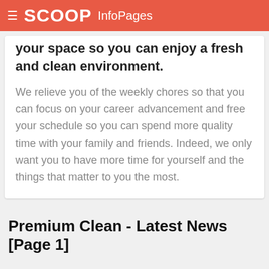SCOOP InfoPages
your space so you can enjoy a fresh and clean environment.
We relieve you of the weekly chores so that you can focus on your career advancement and free your schedule so you can spend more quality time with your family and friends. Indeed, we only want you to have more time for yourself and the things that matter to you the most.
Premium Clean - Latest News [Page 1]